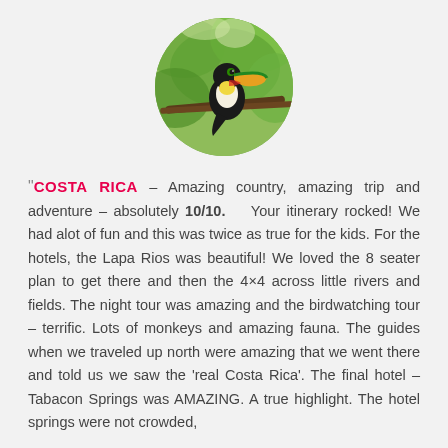[Figure (photo): Circular photo of a toucan bird perched on a branch among green foliage]
"COSTA RICA – Amazing country, amazing trip and adventure – absolutely 10/10. Your itinerary rocked! We had alot of fun and this was twice as true for the kids. For the hotels, the Lapa Rios was beautiful! We loved the 8 seater plan to get there and then the 4×4 across little rivers and fields. The night tour was amazing and the birdwatching tour – terrific. Lots of monkeys and amazing fauna. The guides when we traveled up north were amazing that we went there and told us we saw the 'real Costa Rica'. The final hotel – Tabacon Springs was AMAZING. A true highlight. The hotel springs were not crowded, felt authentic and...